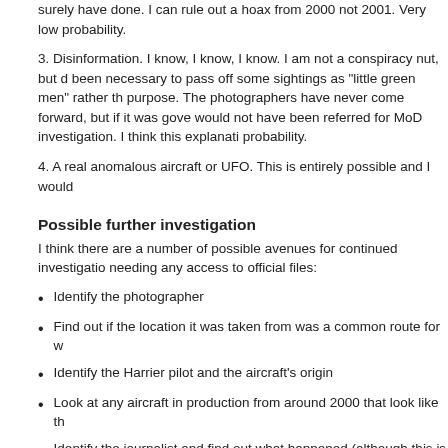surely have done. I can rule out a hoax from 2000 not 2001. Very low probability.
3. Disinformation. I know, I know, I know. I am not a conspiracy nut, but disinformation might have been necessary to pass off some sightings as "little green men" rather than for a more mundane purpose. The photographers have never come forward, but if it was government disinformation it would not have been referred for MoD investigation. I think this explanation has very low probability.
4. A real anomalous aircraft or UFO. This is entirely possible and I would
Possible further investigation
I think there are a number of possible avenues for continued investigation without needing any access to official files:
Identify the photographer
Find out if the location it was taken from was a common route for w
Identify the Harrier pilot and the aircraft's origin
Look at any aircraft in production from around 2000 that look like th
Identify the journalist and find out what happened (although this is n
Check any files at the Daily Record if they have them